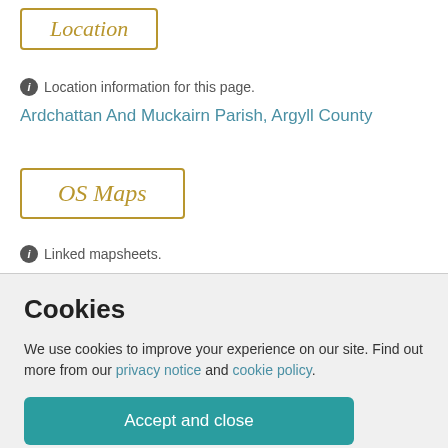Location
Location information for this page.
Ardchattan And Muckairn Parish, Argyll County
OS Maps
Linked mapsheets.
Cookies
We use cookies to improve your experience on our site. Find out more from our privacy notice and cookie policy.
Accept and close